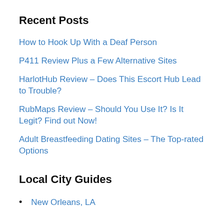Recent Posts
How to Hook Up With a Deaf Person
P411 Review Plus a Few Alternative Sites
HarlotHub Review – Does This Escort Hub Lead to Trouble?
RubMaps Review – Should You Use It? Is It Legit? Find out Now!
Adult Breastfeeding Dating Sites – The Top-rated Options
Local City Guides
New Orleans, LA